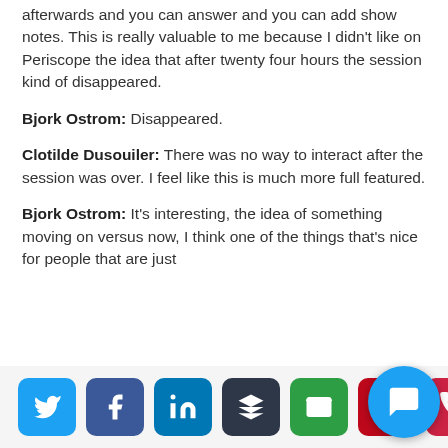afterwards and you can answer and you can add show notes. This is really valuable to me because I didn't like on Periscope the idea that after twenty four hours the session kind of disappeared.
Bjork Ostrom: Disappeared.
Clotilde Dusouiler: There was no way to interact after the session was over. I feel like this is much more full featured.
Bjork Ostrom: It's interesting, the idea of something moving on versus now, I think one of the things that's nice for people that are just starting out with something like...